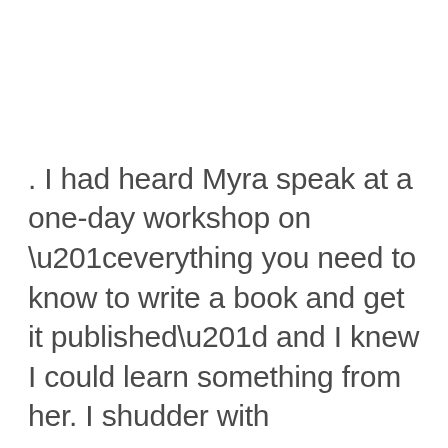. I had heard Myra speak at a one-day workshop on “everything you need to know to write a book and get it published” and I knew I could learn something from her. I shudder with